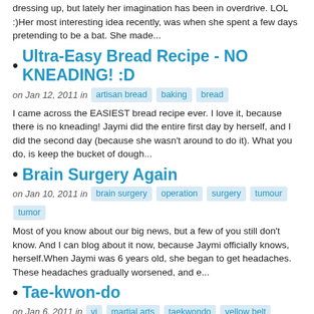dressing up, but lately her imagination has been in overdrive. LOL :)Her most interesting idea recently, was when she spent a few days pretending to be a bat. She made...
Ultra-Easy Bread Recipe - NO KNEADING! :D
on Jan 12, 2011 in artisan bread baking bread
I came across the EASIEST bread recipe ever. I love it, because there is no kneading! Jaymi did the entire first day by herself, and I did the second day (because she wasn't around to do it). What you do, is keep the bucket of dough...
Brain Surgery Again
on Jan 10, 2011 in brain surgery operation surgery tumour tumor
Most of you know about our big news, but a few of you still don't know. And I can blog about it now, because Jaymi officially knows, herself.When Jaymi was 6 years old, she began to get headaches. These headaches gradually worsened, and e...
Tae-kwon-do
on Jan 6, 2011 in vi martial arts taekwondo yellow belt tae-kwon-do
Jaymi tried out a trial month of Tae-kwon-do in August.It was a free trial that we won at a fair, and we thought it might be a fun thing for her to try, as well as good for her.She reeeeallly wanted to sign up for it, when the trial month was finishe...
Behind the Scenes at the museum
on Jan 5, 2011 in victoria bugs insects behind the scenes x-ray seals taxidermy museum bc
On the last day before school started this week, I took Jaymi to our local museum, where they were having their annual week where you could experience all that the museum has to offer for education, so you were able to...